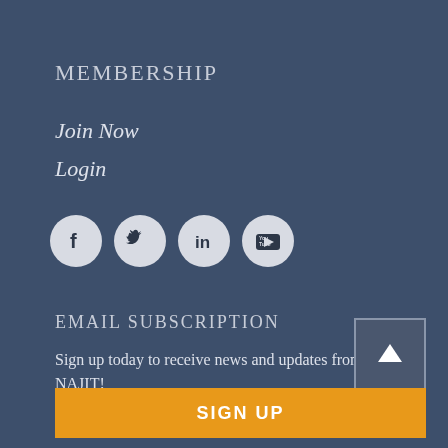MEMBERSHIP
Join Now
Login
[Figure (infographic): Row of four social media icons: Facebook, Twitter, LinkedIn, YouTube — circular light gray buttons with dark logos]
EMAIL SUBSCRIPTION
Sign up today to receive news and updates from NAJIT!
[Figure (infographic): Back to top button — square button with upward arrow icon]
SIGN UP